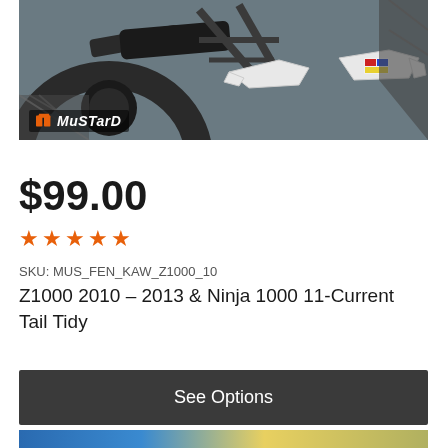[Figure (photo): Motorcycle tail section with fender eliminator/tail tidy kit installed, showing turn signals. Mustard brand logo visible in bottom left corner.]
$99.00
★★★★★
SKU: MUS_FEN_KAW_Z1000_10
Z1000 2010 – 2013 & Ninja 1000 11-Current Tail Tidy
See Options
[Figure (photo): Partial view of another motorcycle product at the bottom of the page.]